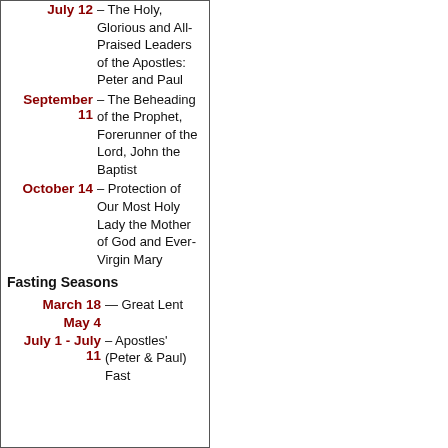| Date | Event |
| --- | --- |
| July 12 | – The Holy, Glorious and All-Praised Leaders of the Apostles: Peter and Paul |
| September 11 | – The Beheading of the Prophet, Forerunner of the Lord, John the Baptist |
| October 14 | – Protection of Our Most Holy Lady the Mother of God and Ever-Virgin Mary |
Fasting Seasons
| Date | Event |
| --- | --- |
| March 18 – May 4 | — Great Lent |
| July 1 - July 11 | – Apostles' (Peter & Paul) Fast |